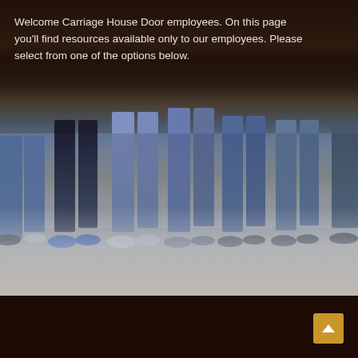[Figure (photo): Group photo of Carriage House Door employees standing in a line. The upper portion shows their torsos wearing dark shirts. The lower portion shows their legs and feet in various jeans/pants and sneakers/shoes on a concrete floor.]
Welcome Carriage House Door employees. On this page you'll find resources available only to our employees. Please select from one of the options below.
↑